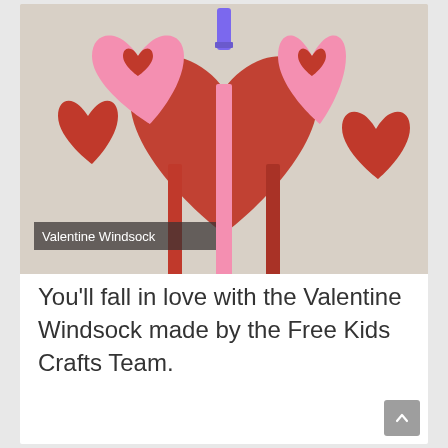[Figure (photo): A craft photo showing Valentine Windsock made from paper hearts in red and pink colors, with a label overlay reading 'Valentine Windsock']
You'll fall in love with the Valentine Windsock made by the Free Kids Crafts Team.